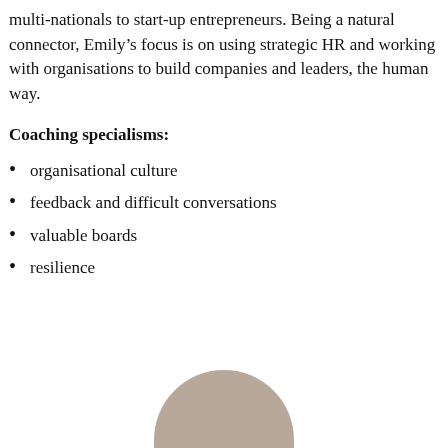multi-nationals to start-up entrepreneurs. Being a natural connector, Emily's focus is on using strategic HR and working with organisations to build companies and leaders, the human way.
Coaching specialisms:
organisational culture
feedback and difficult conversations
valuable boards
resilience
[Figure (photo): Partial photo of a person's head visible at bottom of page]